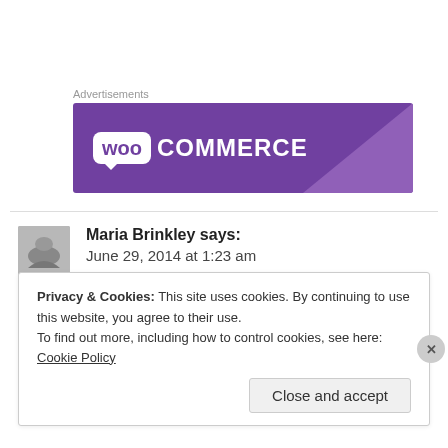Advertisements
[Figure (logo): WooCommerce advertisement banner with purple background and white logo text]
Maria Brinkley says:
June 29, 2014 at 1:23 am
Privacy & Cookies: This site uses cookies. By continuing to use this website, you agree to their use.
To find out more, including how to control cookies, see here: Cookie Policy
Close and accept